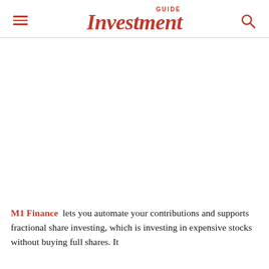Investment GUIDE
M1 Finance lets you automate your contributions and supports fractional share investing, which is investing in expensive stocks without buying full shares. It